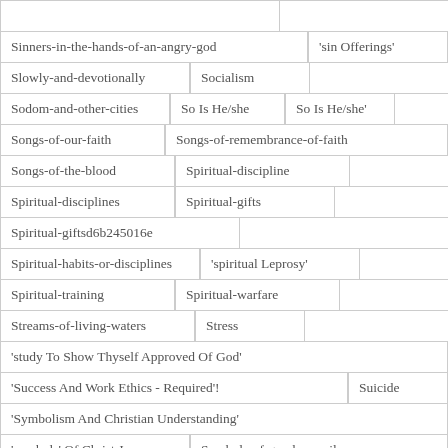Sinners-in-the-hands-of-an-angry-god
'sin Offerings'
Slowly-and-devotionally
Socialism
Sodom-and-other-cities
So Is He/she
So Is He/she'
Songs-of-our-faith
Songs-of-remembrance-of-faith
Songs-of-the-blood
Spiritual-discipline
Spiritual-disciplines
Spiritual-gifts
Spiritual-giftsd6b245016e
Spiritual-habits-or-disciplines
'spiritual Leprosy'
Spiritual-training
Spiritual-warfare
Streams-of-living-waters
Stress
'study To Show Thyself Approved Of God'
'Success And Work Ethics - Required'!
Suicide
'Symbolism And Christian Understanding'
'symbols' Of Christ Jesus
Symbols-of-good-vs-evil